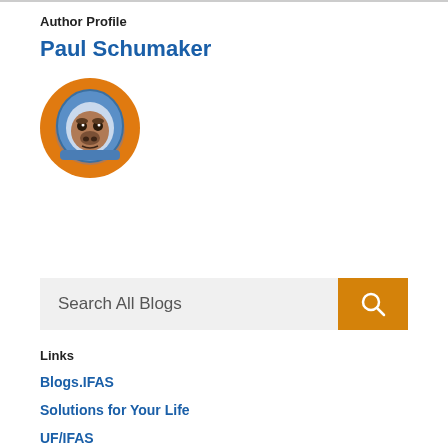Author Profile
Paul Schumaker
[Figure (illustration): Circular avatar image with orange background showing a gorilla wearing a blue astronaut helmet]
[Figure (other): Search bar with gray input field showing 'Search All Blogs' placeholder text and an orange search button with magnifying glass icon]
Links
Blogs.IFAS
Solutions for Your Life
UF/IFAS